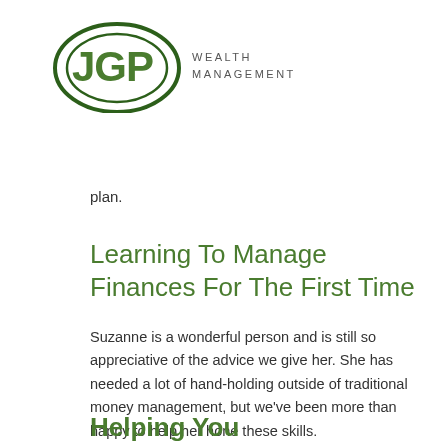[Figure (logo): JGP Wealth Management logo with green oval containing JGP letters and text WEALTH MANAGEMENT to the right]
plan.
Learning To Manage Finances For The First Time
Suzanne is a wonderful person and is still so appreciative of the advice we give her. She has needed a lot of hand-holding outside of traditional money management, but we've been more than happy to help her hone these skills.
Helping You